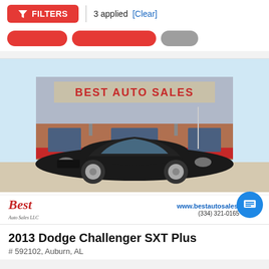FILTERS | 3 applied [Clear]
[Figure (photo): Photo of a black 2013 Dodge Challenger SXT Plus parked in front of Best Auto Sales dealership building. The dealer banner shows the Best Auto Sales logo, website www.bestautosalesllc.com and phone (334) 321-0165.]
2013 Dodge Challenger SXT Plus
# 592102, Auburn, AL